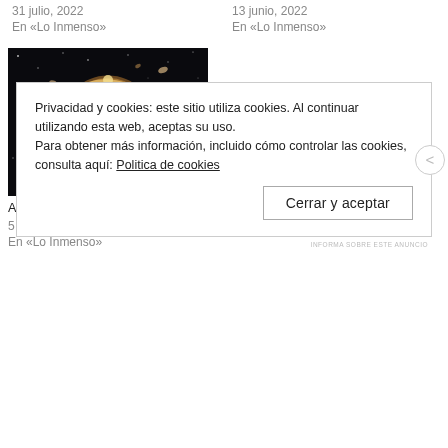31 julio, 2022
En «Lo Inmenso»
13 junio, 2022
En «Lo Inmenso»
[Figure (photo): Einstein ring galaxy gravitational lensing image — glowing ring of light with galaxies on black background]
A Molten Galaxy Einstein Ring Galaxy
5 julio, 2022
En «Lo Inmenso»
Privacidad y cookies: este sitio utiliza cookies. Al continuar utilizando esta web, aceptas su uso.
Para obtener más información, incluido cómo controlar las cookies, consulta aquí: Politica de cookies
Cerrar y aceptar
INFORMA SOBRE ESTE ANUNCIO